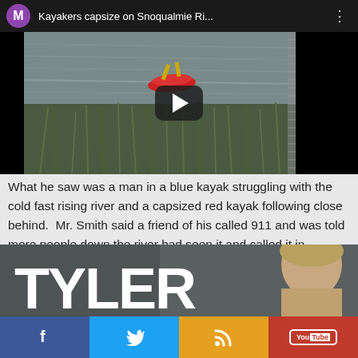[Figure (screenshot): YouTube-style video thumbnail showing kayakers on Snoqualmie River with play button overlay. Top bar shows purple M avatar, title 'Kayakers capsize on Snoqualmie Ri...' and three-dot menu. Video shows a river scene with red kayak visible, play button in center, black bars on sides.]
What he saw was a man in a blue kayak struggling with the cold fast rising river and a capsized red kayak following close behind.  Mr. Smith said a friend of his called 911 and was told more people down the river had seen it and called it in.
[Figure (photo): Bottom banner showing 'TYLER' text in large bold white letters on grey background, with partial view of a person's head on the right side.]
[Figure (infographic): Social media share bar with four buttons: Facebook (blue), Twitter (cyan), RSS (orange/yellow), YouTube (red)]